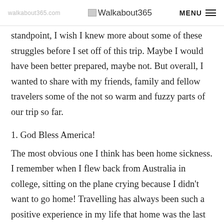Walkabout365  MENU
standpoint, I wish I knew more about some of these struggles before I set off of this trip. Maybe I would have been better prepared, maybe not. But overall, I wanted to share with my friends, family and fellow travelers some of the not so warm and fuzzy parts of our trip so far.
1. God Bless America!
The most obvious one I think has been home sickness. I remember when I flew back from Australia in college, sitting on the plane crying because I didn't want to go home! Travelling has always been such a positive experience in my life that home was the last thing on my mind. But this